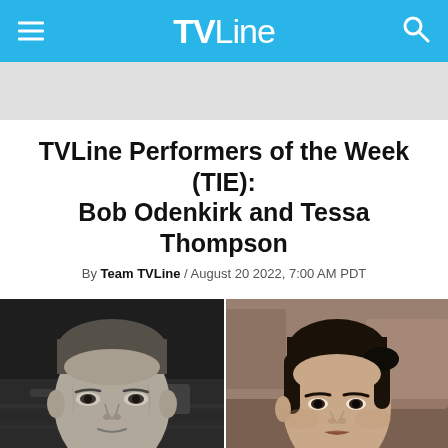TVLine
TVLine Performers of the Week (TIE): Bob Odenkirk and Tessa Thompson
By Team TVLine / August 20 2022, 7:00 AM PDT
[Figure (photo): Side-by-side photos: left is a black-and-white photo of Bob Odenkirk, a middle-aged white man with short hair, holding his finger to his chin thoughtfully; right is a color photo of Tessa Thompson, a young woman with dark hair pulled back, wearing a dark outfit, looking seriously at the camera.]